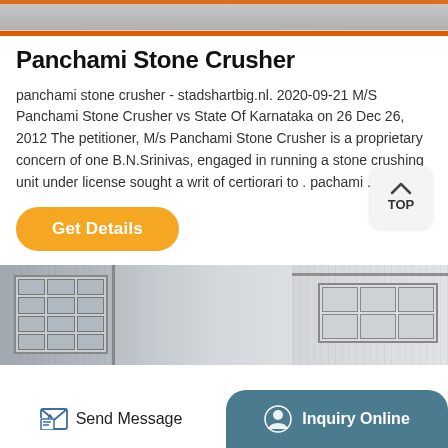[Figure (photo): Top portion of a stone crusher machine with orange metallic bar at bottom edge]
Panchami Stone Crusher
panchami stone crusher - stadshartbig.nl. 2020-09-21 M/S Panchami Stone Crusher vs State Of Karnataka on 26 Dec 26, 2012 The petitioner, M/s Panchami Stone Crusher is a proprietary concern of one B.N.Srinivas, engaged in running a stone crushing unit under license sought a writ of certiorari to . pachami ...
[Figure (illustration): TOP button with upward arrow chevron icon, rounded rectangle button]
Get Details
[Figure (photo): Industrial building exterior with corrugated metal walls and window frames]
Send Message   Inquiry Online